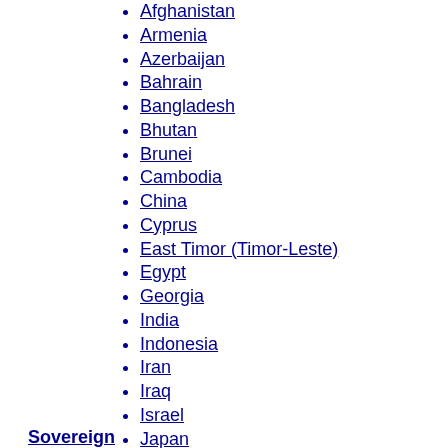Afghanistan
Armenia
Azerbaijan
Bahrain
Bangladesh
Bhutan
Brunei
Cambodia
China
Cyprus
East Timor (Timor-Leste)
Egypt
Georgia
India
Indonesia
Iran
Iraq
Israel
Japan
Jordan
Kazakhstan
North Korea
South Korea
Kuwait
Kyrgyzstan
Sovereign